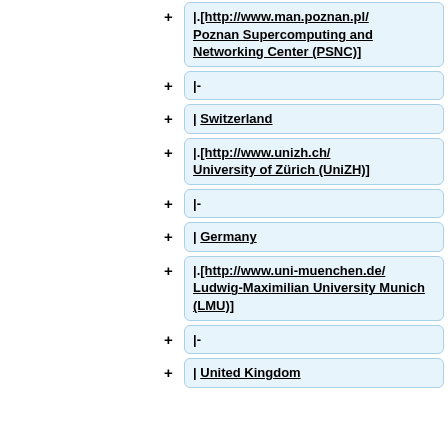|.[http://www.man.poznan.pl/ Poznan Supercomputing and Networking Center (PSNC)]
|-
| Switzerland
|.[http://www.unizh.ch/ University of Zürich (UniZH)]
|-
| Germany
|.[http://www.uni-muenchen.de/ Ludwig-Maximilian University Munich (LMU)]
|-
| United Kingdom